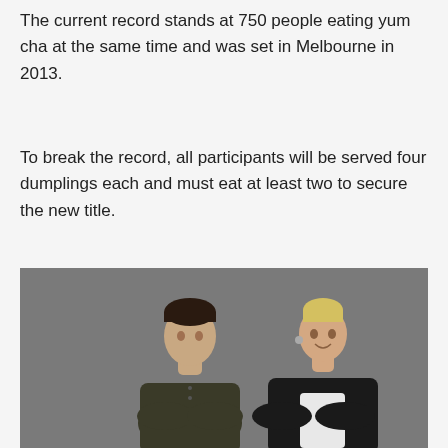The current record stands at 750 people eating yum cha at the same time and was set in Melbourne in 2013.
To break the record, all participants will be served four dumplings each and must eat at least two to secure the new title.
[Figure (photo): A man and a woman posing against a grey background. The man is on the left, wearing a dark olive/brown shirt with arms crossed. The woman is on the right, blonde, wearing a black blazer over a white top, smiling.]